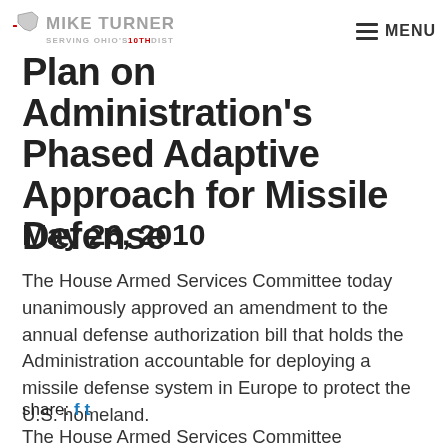MIKE TURNER — SERVING OHIO'S 10TH DISTRICT | MENU
Plan on Administration's Phased Adaptive Approach for Missile Defense
May 26, 2010
The House Armed Services Committee today unanimously approved an amendment to the annual defense authorization bill that holds the Administration accountable for deploying a missile defense system in Europe to protect the U.S. homeland.
share: f t
The House Armed Services Committee